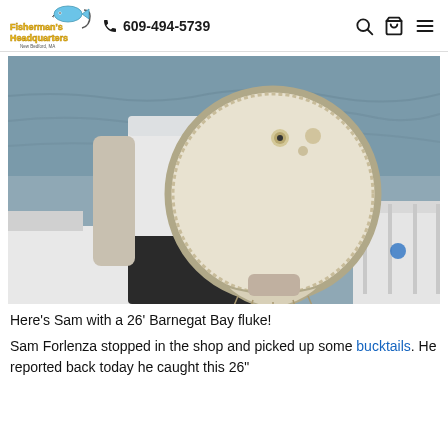Fisherman's Headquarters | 609-494-5739
[Figure (photo): Person standing on a boat holding a large round flounder/fluke fish horizontally in front of them. The fish is pale white on its underside. Water and boat railings visible in background.]
Here’s Sam with a 26’ Barnegat Bay fluke!
Sam Forlenza stopped in the shop and picked up some bucktails. He reported back today he caught this 26"